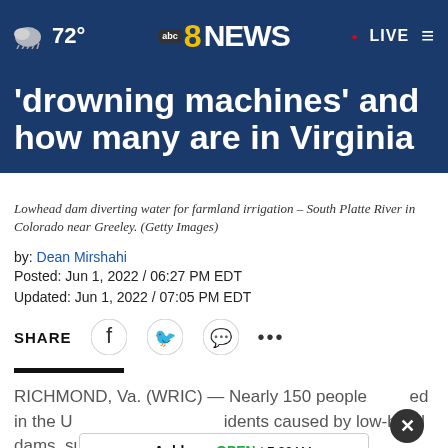72° abc8NEWS • LIVE
'drowning machines' and how many are in Virginia
Lowhead dam diverting water for farmland irrigation – South Platte River in Colorado near Greeley. (Getty Images)
by: Dean Mirshahi
Posted: Jun 1, 2022 / 06:27 PM EDT
Updated: Jun 1, 2022 / 07:05 PM EDT
SHARE
RICHMOND, Va. (WRIC) — Nearly 150 people died in the U... idents caused by low-head dams, submerged dams that are